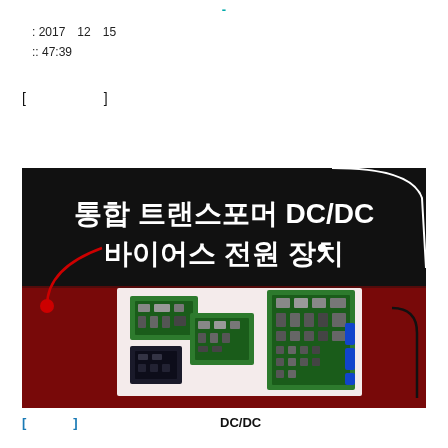-
: 2017 12 15
:: 47:39
[                    ]
[Figure (photo): Product thumbnail image showing circuit boards for 통합 트랜스포머 DC/DC 바이어스 전원 장치 (Integrated Transformer DC/DC Bias Power Supply). Black background with red accent, white Korean text title, and photos of three green PCB circuit boards on a white background.]
[              ]  DC/DC